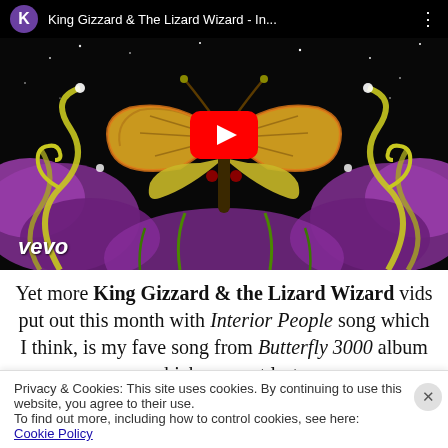[Figure (screenshot): YouTube video thumbnail showing King Gizzard & The Lizard Wizard - In... with a psychedelic butterfly artwork on a black background with purple and yellow plant/floral motifs, a red YouTube play button in the center, and a Vevo logo in the bottom left. Top bar shows a purple K avatar and the video title.]
Yet more King Gizzard & the Lizard Wizard vids put out this month with Interior People song which I think, is my fave song from Butterfly 3000 album which was out last
Privacy & Cookies: This site uses cookies. By continuing to use this website, you agree to their use.
To find out more, including how to control cookies, see here:
Cookie Policy